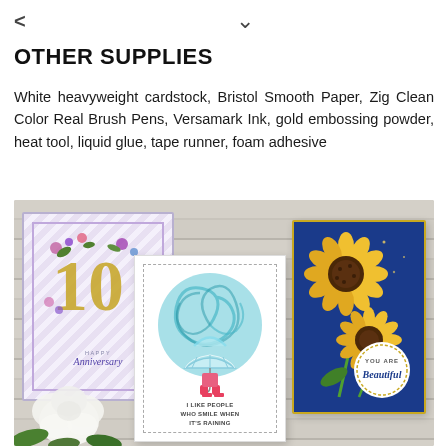< ˅
OTHER SUPPLIES
White heavyweight cardstock, Bristol Smooth Paper, Zig Clean Color Real Brush Pens, Versamark Ink, gold embossing powder, heat tool, liquid glue, tape runner, foam adhesive
[Figure (photo): Three handmade greeting cards displayed on a wood-grain background with a white rose in the lower left. Left card: anniversary card with decorative letters 10 decorated with flowers in purple and gold on a striped border. Center card: white card with a teal swirl circle and a small figure with an umbrella and pink rain boots, text reads I LIKE PEOPLE WHO SMILE WHEN IT'S RAINING. Right card: blue card with sunflower illustration and circular badge reading YOU ARE Beautiful.]